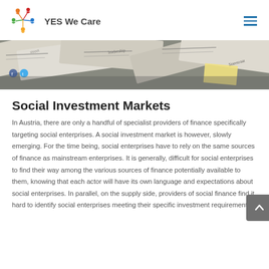YES We Care
[Figure (photo): Close-up photo of business cards or documents with text, viewed from above at an angle]
Social Investment Markets
In Austria, there are only a handful of specialist providers of finance specifically targeting social enterprises. A social investment market is however, slowly emerging. For the time being, social enterprises have to rely on the same sources of finance as mainstream enterprises. It is generally, difficult for social enterprises to find their way among the various sources of finance potentially available to them, knowing that each actor will have its own language and expectations about social enterprises. In parallel, on the supply side, providers of social finance find it hard to identify social enterprises meeting their specific investment requirements.